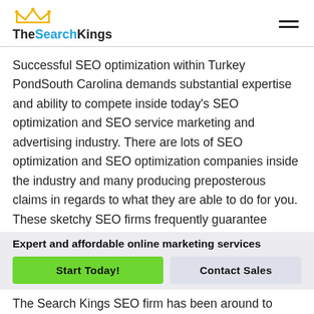TheSearchKings
Successful SEO optimization within Turkey PondSouth Carolina demands substantial expertise and ability to compete inside today's SEO optimization and SEO service marketing and advertising industry. There are lots of SEO optimization and SEO optimization companies inside the industry and many producing preposterous claims in regards to what they are able to do for you. These sketchy SEO firms frequently guarantee
Expert and affordable online marketing services
Start Today!
Contact Sales
The Search Kings SEO firm has been around to